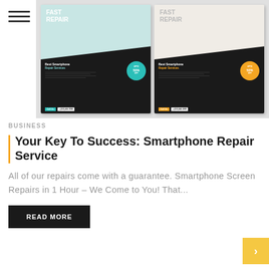[Figure (illustration): Two smartphone repair service promotional flyers side by side. Left flyer has teal/cyan color scheme with 'FAST REPAIR' heading, dark bottom half showing 'Best Smartphone Repair Services', teal circular badge with 'UPTO 50% OFF'. Right flyer has beige/cream color scheme with same layout but orange badge and orange accents.]
BUSINESS
Your Key To Success: Smartphone Repair Service
All of our repairs come with a guarantee. Smartphone Screen Repairs in 1 Hour – We Come to You! That...
READ MORE